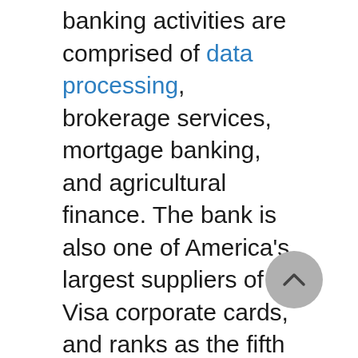banking activities are comprised of data processing, brokerage services, mortgage banking, and agricultural finance. The bank is also one of America's largest suppliers of Visa corporate cards, and ranks as the fifth largest merchant processor of Visa/Mastercards in the country.
In April of 1929, just one-half year before the great stock market crash, 85 banks located in the Ninth Federal Reserve district joined together in a [corporation called First Bank...]